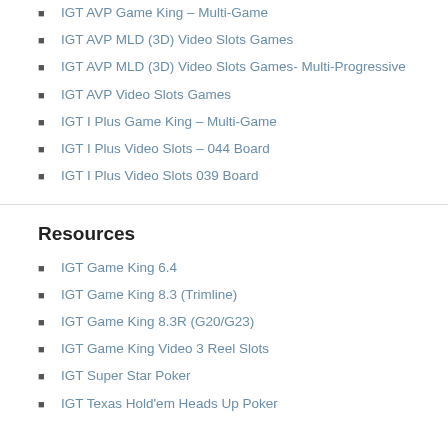IGT AVP Game King – Multi-Game
IGT AVP MLD (3D) Video Slots Games
IGT AVP MLD (3D) Video Slots Games- Multi-Progressive
IGT AVP Video Slots Games
IGT I Plus Game King – Multi-Game
IGT I Plus Video Slots – 044 Board
IGT I Plus Video Slots 039 Board
Resources
IGT Game King 6.4
IGT Game King 8.3 (Trimline)
IGT Game King 8.3R (G20/G23)
IGT Game King Video 3 Reel Slots
IGT Super Star Poker
IGT Texas Hold'em Heads Up Poker